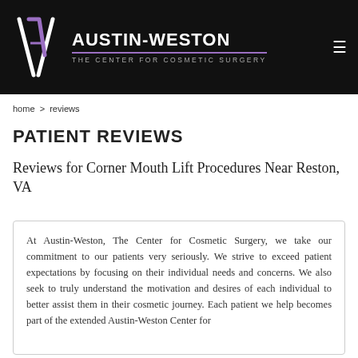[Figure (logo): Austin-Weston The Center for Cosmetic Surgery logo on black header background]
home > reviews
PATIENT REVIEWS
Reviews for Corner Mouth Lift Procedures Near Reston, VA
At Austin-Weston, The Center for Cosmetic Surgery, we take our commitment to our patients very seriously. We strive to exceed patient expectations by focusing on their individual needs and concerns. We also seek to truly understand the motivation and desires of each individual to better assist them in their cosmetic journey. Each patient we help becomes part of the extended Austin-Weston Center for